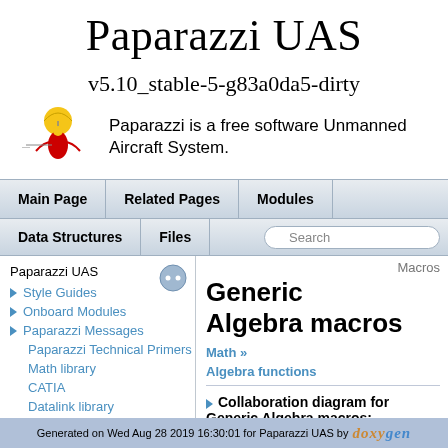Paparazzi UAS
v5.10_stable-5-g83a0da5-dirty
Paparazzi is a free software Unmanned Aircraft System.
Main Page | Related Pages | Modules | Data Structures | Files | Search
Paparazzi UAS
Style Guides
Onboard Modules
Paparazzi Messages
Paparazzi Technical Primers
Math library
CATIA
Datalink library
Todo List
Macros
Generic Algebra macros
Math »
Algebra functions
Collaboration diagram for Generic Algebra macros:
Generated on Wed Aug 28 2019 16:30:01 for Paparazzi UAS by doxygen